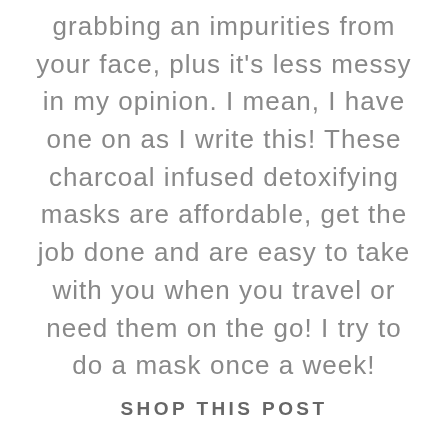grabbing an impurities from your face, plus it's less messy in my opinion. I mean, I have one on as I write this! These charcoal infused detoxifying masks are affordable, get the job done and are easy to take with you when you travel or need them on the go! I try to do a mask once a week!
SHOP THIS POST